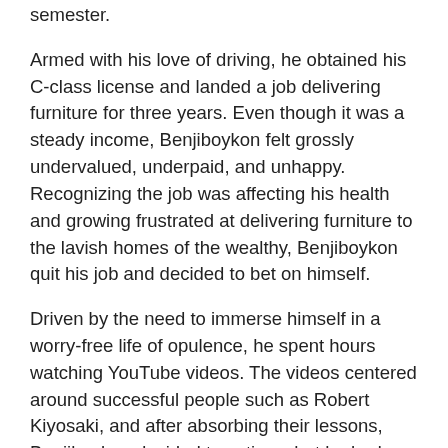semester.
Armed with his love of driving, he obtained his C-class license and landed a job delivering furniture for three years. Even though it was a steady income, Benjiboykon felt grossly undervalued, underpaid, and unhappy. Recognizing the job was affecting his health and growing frustrated at delivering furniture to the lavish homes of the wealthy, Benjiboykon quit his job and decided to bet on himself.
Driven by the need to immerse himself in a worry-free life of opulence, he spent hours watching YouTube videos. The videos centered around successful people such as Robert Kiyosaki, and after absorbing their lessons, Benjiboykon decided to action what he had learned. Soon, he cleaned up his credit, invested in real estate, and started an exotic car rental company.
He went on to pioneer his most recent venture, Benji Auto Transport. Family-owned, Benji Auto Transport, specializes